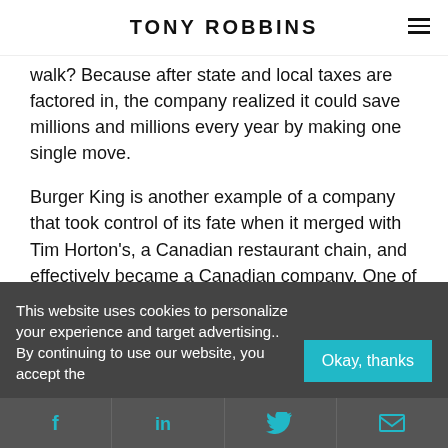TONY ROBBINS
walk? Because after state and local taxes are factored in, the company realized it could save millions and millions every year by making one single move.
Burger King is another example of a company that took control of its fate when it merged with Tim Horton's, a Canadian restaurant chain, and effectively became a Canadian company. One of the biggest benefits of this move? As a Canadian
This website uses cookies to personalize your experience and target advertising.. By continuing to use our website, you accept the
[Figure (infographic): Social share bar with Facebook, LinkedIn, Twitter, and Email icons in teal color on dark grey background]